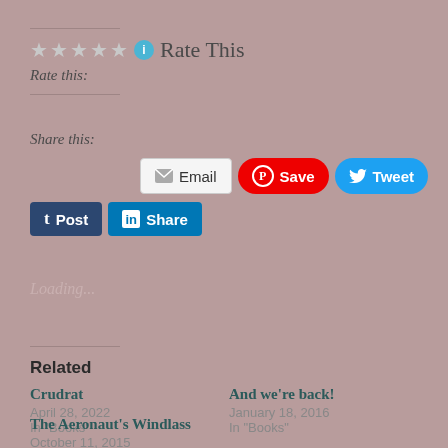★★★★★ ℹ Rate This
Rate this:
Share this:
[Figure (infographic): Social sharing buttons: Email, Save (Pinterest), Tweet (Twitter), Post (Tumblr), Share (LinkedIn)]
Loading...
Related
Crudrat
April 28, 2022
In "Books"
And we're back!
January 18, 2016
In "Books"
The Aeronaut's Windlass
October 11, 2015
In "Books"